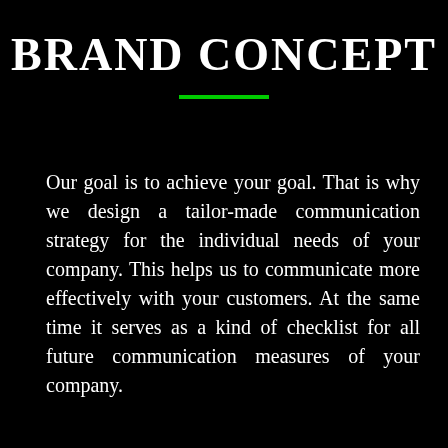BRAND CONCEPT
Our goal is to achieve your goal. That is why we design a tailor-made communication strategy for the individual needs of your company. This helps us to communicate more effectively with your customers. At the same time it serves as a kind of checklist for all future communication measures of your company.